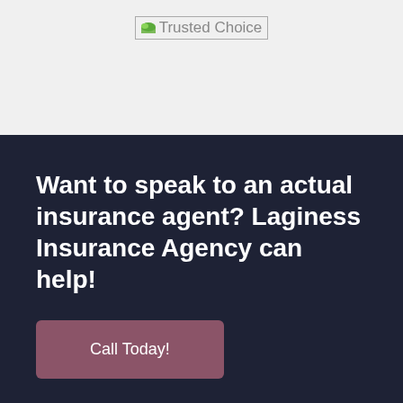[Figure (logo): Trusted Choice logo with small icon and text]
Want to speak to an actual insurance agent? Laginess Insurance Agency can help!
Call Today!